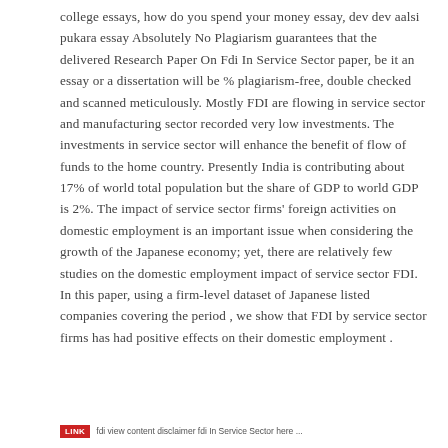college essays, how do you spend your money essay, dev dev aalsi pukara essay Absolutely No Plagiarism guarantees that the delivered Research Paper On Fdi In Service Sector paper, be it an essay or a dissertation will be % plagiarism-free, double checked and scanned meticulously. Mostly FDI are flowing in service sector and manufacturing sector recorded very low investments. The investments in service sector will enhance the benefit of flow of funds to the home country. Presently India is contributing about 17% of world total population but the share of GDP to world GDP is 2%. The impact of service sector firms' foreign activities on domestic employment is an important issue when considering the growth of the Japanese economy; yet, there are relatively few studies on the domestic employment impact of service sector FDI. In this paper, using a firm-level dataset of Japanese listed companies covering the period , we show that FDI by service sector firms has had positive effects on their domestic employment .
LINK  [url content about fdi]